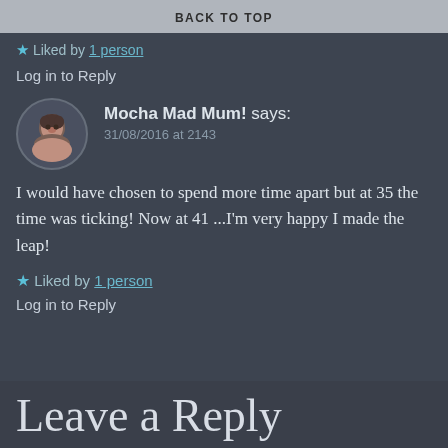BACK TO TOP
★ Liked by 1 person
Log in to Reply
Mocha Mad Mum! says:
31/08/2016 at 2143
I would have chosen to spend more time apart but at 35 the time was ticking! Now at 41 ...I'm very happy I made the leap!
★ Liked by 1 person
Log in to Reply
Leave a Reply